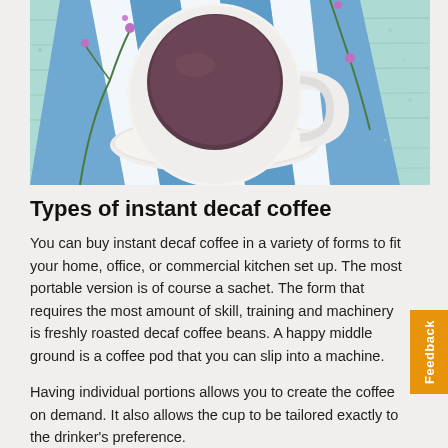[Figure (photo): Overhead photo of a white coffee cup with dark coffee on a blue and white striped cloth/napkin, with small purple wildflowers scattered around, on a light turquoise wooden surface.]
Types of instant decaf coffee
You can buy instant decaf coffee in a variety of forms to fit your home, office, or commercial kitchen set up. The most portable version is of course a sachet. The form that requires the most amount of skill, training and machinery is freshly roasted decaf coffee beans. A happy middle ground is a coffee pod that you can slip into a machine.
Having individual portions allows you to create the coffee on demand. It also allows the cup to be tailored exactly to the drinker's preference.